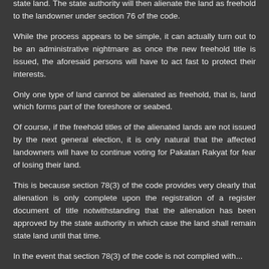state land. The state authority will then alienate the land as freehold to the landowner under section 76 of the code.
While the process appears to be simple, it can actually turn out to be an administrative nightmare as once the new freehold title is issued, the aforesaid persons will have to act fast to protect their interests.
Only one type of land cannot be alienated as freehold, that is, land which forms part of the foreshore or seabed.
Of course, if the freehold titles of the alienated lands are not issued by the next general election, it is only natural that the affected landowners will have to continue voting for Pakatan Rakyat for fear of losing their land.
This is because section 78(3) of the code provides very clearly that alienation is only complete upon the registration of a register document of title notwithstanding that the alienation has been approved by the state authority in which case the land shall remain state land until that time.
In the event that section 78(3) of the code is not complied with...